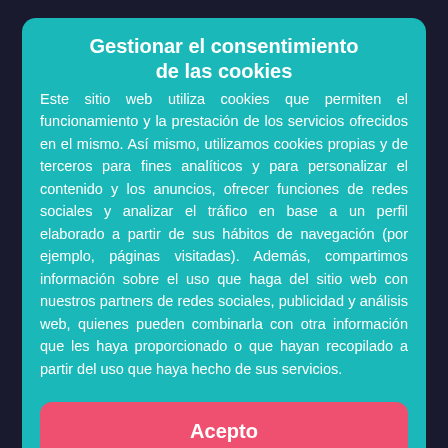Gestionar el consentimiento de las cookies
Este sitio web utiliza cookies que permiten el funcionamiento y la prestación de los servicios ofrecidos en el mismo. Así mismo, utilizamos cookies propias y de terceros para fines analíticos y para personalizar el contenido y los anuncios, ofrecer funciones de redes sociales y analizar el tráfico en base a un perfil elaborado a partir de sus hábitos de navegación (por ejemplo, páginas visitadas). Además, compartimos información sobre el uso que haga del sitio web con nuestros partners de redes sociales, publicidad y análisis web, quienes pueden combinarla con otra información que les haya proporcionado o que hayan recopilado a partir del uso que haya hecho de sus servicios.
Acepto
Denegar
Configuración